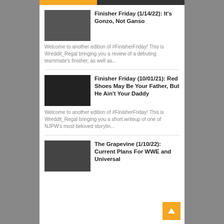[Figure (screenshot): Top navigation bar with orange and dark sections]
Finisher Friday (1/14/22): It's Gonzo, Not Ganso
Welcome to another edition of #FinisherFriday! This is Wreddit_Regal bringing you a review of a debuting teammate's finisher, as well as...
Finisher Friday (10/01/21): Red Shoes May Be Your Father, But He Ain't Your Daddy
Welcome to another edition of #FinisherFriday! This is Wreddit_Regal bringing you a short writeup of one of NJPW's most beloved storylin...
The Grapevine (1/10/22): Current Plans For WWE and Universal